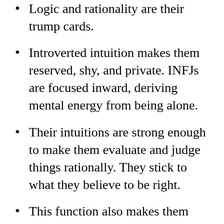Logic and rationality are their trump cards.
Introverted intuition makes them reserved, shy, and private. INFJs are focused inward, deriving mental energy from being alone.
Their intuitions are strong enough to make them evaluate and judge things rationally. They stick to what they believe to be right.
This function also makes them stubborn and single-minded. They are less flexible about their overall outlook towards life.